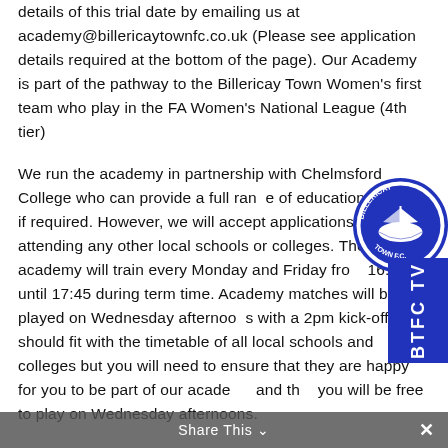details of this trial date by emailing us at academy@billericaytownfc.co.uk (Please see application details required at the bottom of the page). Our Academy is part of the pathway to the Billericay Town Women's first team who play in the FA Women's National League (4th tier)
We run the academy in partnership with Chelmsford College who can provide a full range of education courses if required. However, we will accept applications from girls attending any other local schools or colleges. The girl's academy will train every Monday and Friday from 16:15 until 17:45 during term time. Academy matches will be played on Wednesday afternoons with a 2pm kick-off. This should fit with the timetable of all local schools and colleges but you will need to ensure that they are happy for you to be part of our academy and that you will be free to play on Wednesday afternoons.
[Figure (logo): Billericay Town FC circular crest logo with ship and banner, blue and white, with BTFC TV vertical banner in blue]
Share This ×